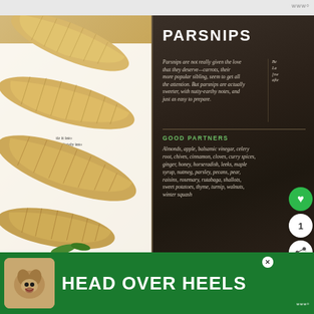www°
[Figure (photo): A photograph showing fresh parsnip vegetables alongside an open book page about parsnips, featuring a dark-background book page with the heading PARSNIPS, descriptive text about parsnips, and a GOOD PARTNERS section listing ingredient pairings]
PARSNIPS
Parsnips are not really given the love that they deserve—carrots, their more popular sibling, seem to get all the attention. But parsnips are actually sweeter, with nutty-earthy notes, and just as easy to prepare.
GOOD PARTNERS
Almonds, apple, balsamic vinegar, celery root, chives, cinnamon, cloves, curry spices, ginger, honey, horseradish, leeks, maple syrup, nutmeg, parsley, pecans, pear, raisins, rosemary, rutabaga, shallots, sweet potatoes, thyme, turnip, walnuts, winter squash
[Figure (photo): Advertisement banner with green background showing a dog and text HEAD OVER HEELS]
HEAD OVER HEELS
www°